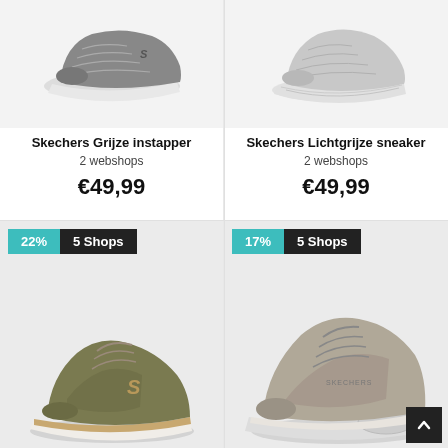[Figure (photo): Skechers gray slip-on sneaker shoe on white/light gray background]
Skechers Grijze instapper
2 webshops
€49,99
[Figure (photo): Skechers light gray sneaker shoe on white/light gray background]
Skechers Lichtgrijze sneaker
2 webshops
€49,99
[Figure (photo): Skechers olive/khaki retro sneaker with gold S logo and white sole, badges: 22% discount, 5 Shops]
[Figure (photo): Skechers large beige/tan chunky sneaker with air bubble sole, badges: 17% discount, 5 Shops]